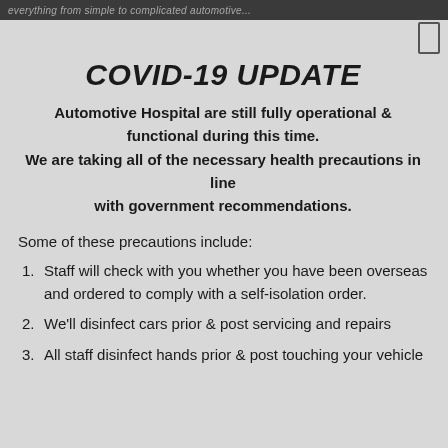everything from simple to complicated automotive...
COVID-19 UPDATE
Automotive Hospital are still fully operational & functional during this time.
We are taking all of the necessary health precautions in line
with government recommendations.
Some of these precautions include:
Staff will check with you whether you have been overseas and ordered to comply with a self-isolation order.
We'll disinfect cars prior & post servicing and repairs
All staff disinfect hands prior & post touching your vehicle